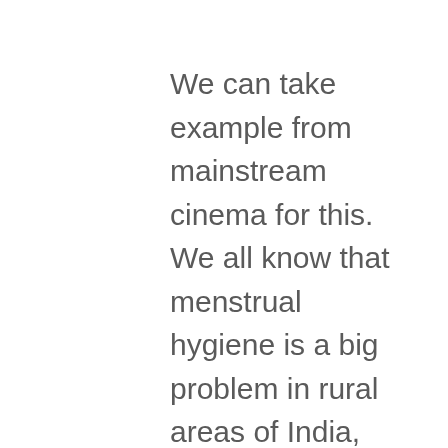We can take example from mainstream cinema for this. We all know that menstrual hygiene is a big problem in rural areas of India, but we were not aware of it until we all witnessed the successful journey of a Padman on silver screen. Movies always have this capability to strongly impact our perspectives about things. A story has a similar effect. We came across one such story during our impact study. One of our viewers was a tuberculosis survivor. He was in an advanced stage of the disease and was surrounded by gloom and depression because of intense medication. Due to this, he dropped out from his college. One of his friends